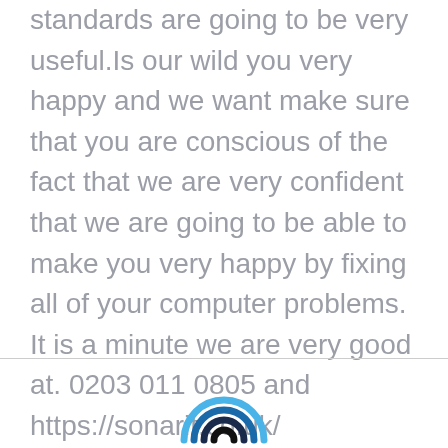standards are going to be very useful.Is our wild you very happy and we want make sure that you are conscious of the fact that we are very confident that we are going to be able to make you very happy by fixing all of your computer problems. It is a minute we are very good at. 0203 011 0805 and https://sonarit.co.uk/
[Figure (logo): Sonar IT logo: concentric rainbow-arc shapes in blue, dark navy, and black forming a wifi/signal arc icon]